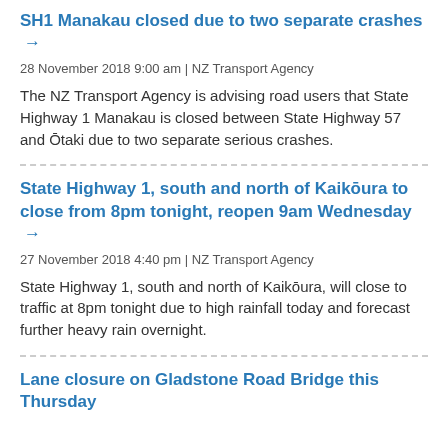SH1 Manakau closed due to two separate crashes →
28 November 2018 9:00 am | NZ Transport Agency
The NZ Transport Agency is advising road users that State Highway 1 Manakau is closed between State Highway 57 and Ōtaki due to two separate serious crashes.
State Highway 1, south and north of Kaikōura to close from 8pm tonight, reopen 9am Wednesday →
27 November 2018 4:40 pm | NZ Transport Agency
State Highway 1, south and north of Kaikōura, will close to traffic at 8pm tonight due to high rainfall today and forecast further heavy rain overnight.
Lane closure on Gladstone Road Bridge this Thursday